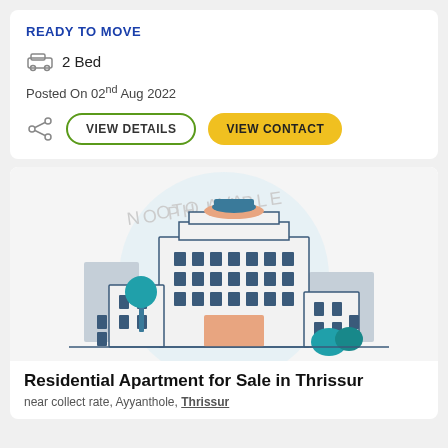READY TO MOVE
2 Bed
Posted On 02nd Aug 2022
VIEW DETAILS
VIEW CONTACT
[Figure (illustration): Illustration of a residential apartment building with NO PHOTO AVAILABLE watermark]
Residential Apartment for Sale in Thrissur
near collect rate, Ayyanthole, Thrissur